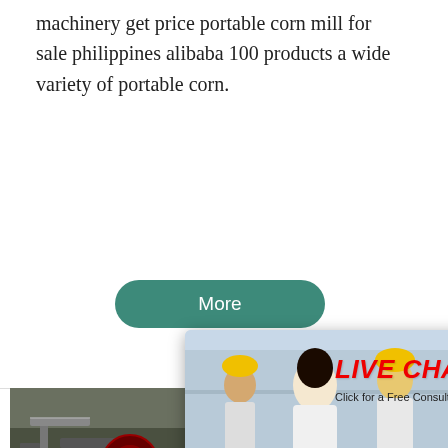machinery get price portable corn mill for sale philippines alibaba 100 products a wide variety of portable corn.
[Figure (screenshot): Green rounded button with white text reading 'More']
[Figure (screenshot): Live Chat popup overlay with workers in hard hats, title 'LIVE CHAT', subtitle 'Click for a Free Consultation', buttons 'Chat now' (red) and 'Chat later' (dark gray), close button top right]
[Figure (screenshot): Teal panel on right side showing '7 hours online', smiley face with headset, 'Click me to chat >>' button, 'Enquiry' section with dashed border, email starting with 'superbrian707@g']
[Figure (photo): Industrial machinery/corn mill equipment photo, bottom left]
Checklist
THE PREVAILILNG WAGE IN ANDHRA ON 01.04.2015 TO 3 Minimum Wage in C w.e.f October 1, 2015